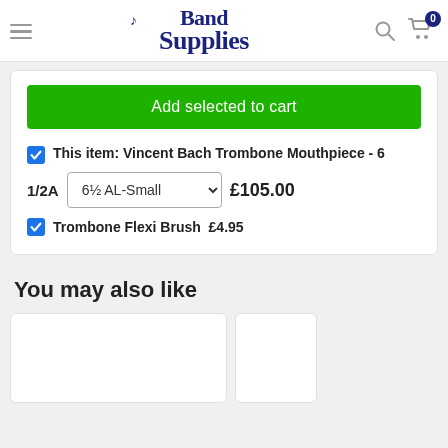Band Supplies - navigation header with hamburger menu, logo, search and cart icons
Add selected to cart
This item: Vincent Bach Trombone Mouthpiece - 6 1/2A  61/2 AL-Small  £105.00
Trombone Flexi Brush  £4.95
You may also like
[Figure (screenshot): Two product card placeholders (white boxes) at the bottom of the page]